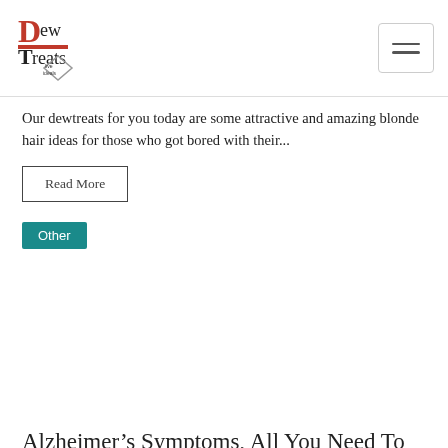Dew Treats
Our dewtreats for you today are some attractive and amazing blonde hair ideas for those who got bored with their...
Read More
Other
Alzheimer’s Symptoms, All You Need To Know About Alzheimer’s